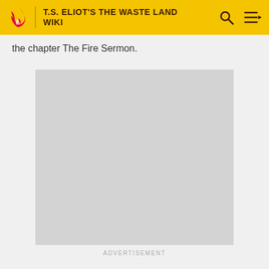T.S. ELIOT'S THE WASTE LAND WIKI
the chapter The Fire Sermon.
[Figure (other): Advertisement placeholder — large grey rectangle with ADVERTISEMENT label below]
ADVERTISEMENT